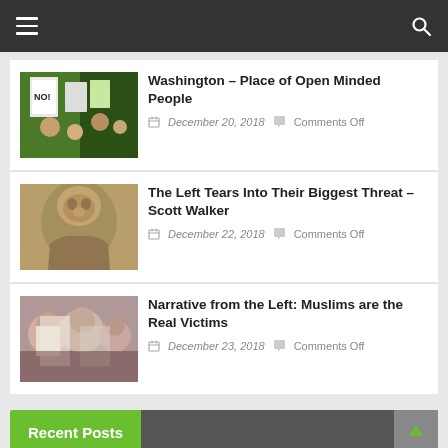Navigation bar with hamburger menu and search icon
Washington – Place of Open Minded People
December 20, 2018   Comments Off
The Left Tears Into Their Biggest Threat – Scott Walker
December 22, 2018   Comments Off
Narrative from the Left: Muslims are the Real Victims
December 23, 2018   Comments Off
Recent Posts